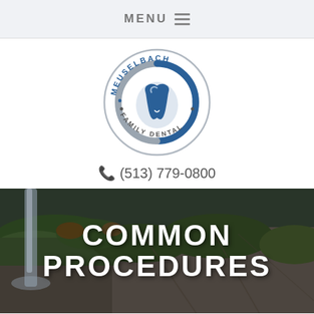MENU
[Figure (logo): Meuselbach Family Dental circular logo with tooth icon]
📞 (513) 779-0800
[Figure (photo): Nature background with waterfall and rocky cliffs with greenery]
COMMON PROCEDURES
TOPICS ON THIS PAGE